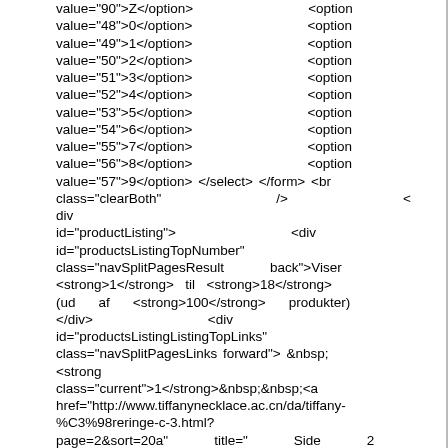value="90">Z</option>                    <option value="48">0</option>                    <option value="49">1</option>                    <option value="50">2</option>                    <option value="51">3</option>                    <option value="52">4</option>                    <option value="53">5</option>                    <option value="54">6</option>                    <option value="55">7</option>                    <option value="56">8</option>                    <option value="57">9</option> </select> </form> <br class="clearBoth"                    />                    <div id="productListing">                    <div id="productsListingTopNumber" class="navSplitPagesResult        back">Viser <strong>1</strong>  til  <strong>18</strong> (ud    af    <strong>100</strong>    produkter) </div>                    <div id="productsListingListingTopLinks" class="navSplitPagesLinks forward"> &nbsp; <strong class="current">1</strong>&nbsp;&nbsp;<a href="http://www.tiffanynecklace.ac.cn/da/tiffany-%C3%98reringe-c-3.html?page=2&sort=20a"        title="        Side        2 ">2</a>&nbsp;&nbsp;<a href="http://www.tiffanynecklace.ac.cn/da/tiffany-%C3%98reringe-c-3.html?page=3&sort=20a"        title="        Side        3 ">3</a>&nbsp;&nbsp;<a